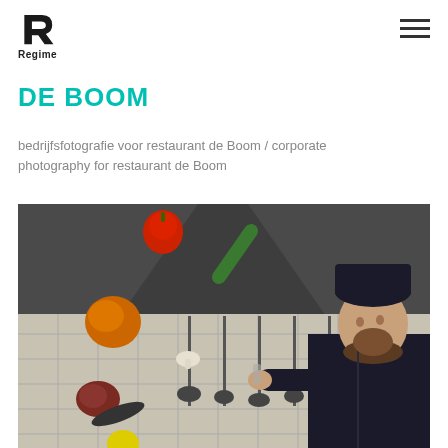Regime
DE BOOM
bedrijfsfotografie voor restaurant de Boom / corporate photography for restaurant de Boom
[Figure (photo): Chef in black uniform leaning over a kitchen counter inspecting something, with vegetables (red pepper, courgette, pumpkin, mushroom, meat) and kitchen utensils hanging on a tiled wall backdrop]